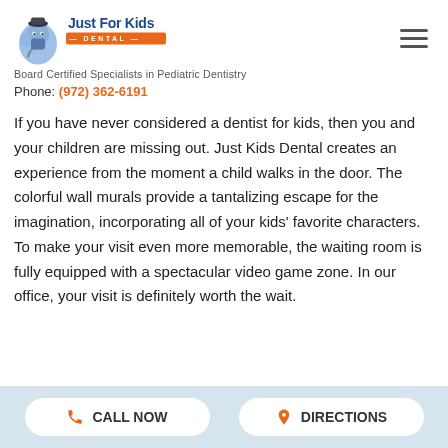[Figure (logo): Just For Kids Dental logo with cartoon characters and orange banner]
Board Certified Specialists in Pediatric Dentistry
Phone: (972) 362-6191
If you have never considered a dentist for kids, then you and your children are missing out. Just Kids Dental creates an experience from the moment a child walks in the door. The colorful wall murals provide a tantalizing escape for the imagination, incorporating all of your kids' favorite characters. To make your visit even more memorable, the waiting room is fully equipped with a spectacular video game zone. In our office, your visit is definitely worth the wait.
CALL NOW   DIRECTIONS